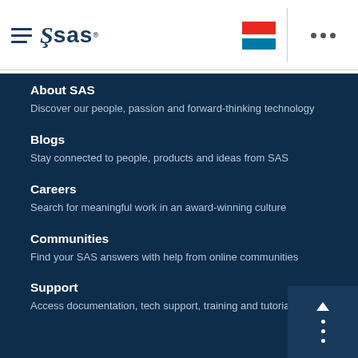[Figure (logo): SAS software logo with hamburger menu icon on the left, red and blue flag icons and three dots on the right, white header background]
About SAS
Discover our people, passion and forward-thinking technology
Blogs
Stay connected to people, products and ideas from SAS
Careers
Search for meaningful work in an award-winning culture
Communities
Find your SAS answers with help from online communities
Support
Access documentation, tech support, training and tutorials